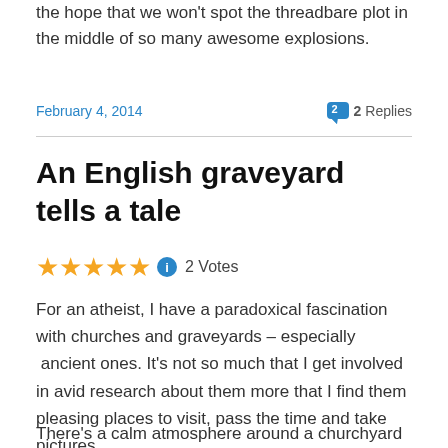the hope that we won't spot the threadbare plot in the middle of so many awesome explosions.
February 4, 2014    2 Replies
An English graveyard tells a tale
★★★★★  2 Votes
For an atheist, I have a paradoxical fascination with churches and graveyards – especially  ancient ones. It's not so much that I get involved in avid research about them more that I find them pleasing places to visit, pass the time and take pictures.
There's a calm atmosphere around a churchyard which is